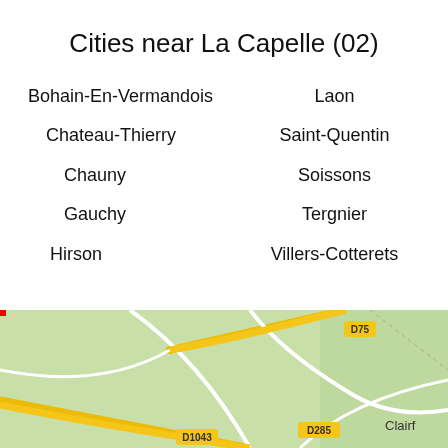Cities near La Capelle (02)
Bohain-En-Vermandois
Laon
Chateau-Thierry
Saint-Quentin
Chauny
Soissons
Gauchy
Tergnier
Hirson
Villers-Cotterets
[Figure (map): Street map showing roads around La Capelle area with road labels D75, D1043, D285, and partial place name Clairf visible. Green terrain background with white roads and yellow highlighted main roads.]